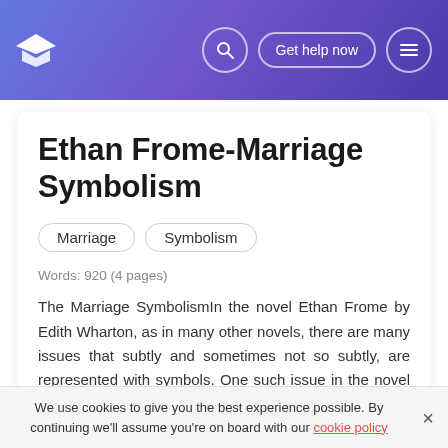Ethan Frome-Marriage Symbolism — educational essay platform header with logo, search, Get help now, and menu icons
Ethan Frome-Marriage Symbolism
Marriage
Symbolism
Words: 920 (4 pages)
The Marriage SymbolismIn the novel Ethan Frome by Edith Wharton, as in many other novels, there are many issues that subtly and sometimes not so subtly, are represented with symbols. One such issue in the novel is the marriage between Ethan and Zeena, and how each other's emotion agitates the other. This is a cold...
We use cookies to give you the best experience possible. By continuing we'll assume you're on board with our cookie policy